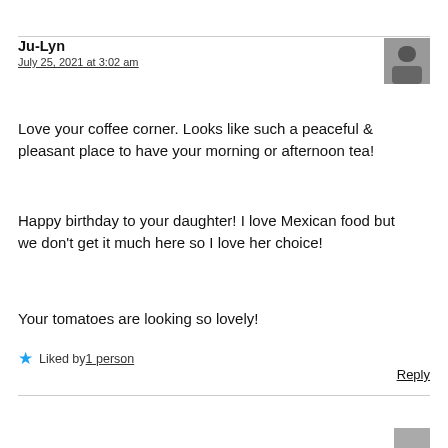Ju-Lyn
July 25, 2021 at 3:02 am
[Figure (photo): Small grayscale avatar photo of a person]
Love your coffee corner. Looks like such a peaceful & pleasant place to have your morning or afternoon tea!
Happy birthday to your daughter! I love Mexican food but we don't get it much here so I love her choice!
Your tomatoes are looking so lovely!
★ Liked by 1 person
Reply